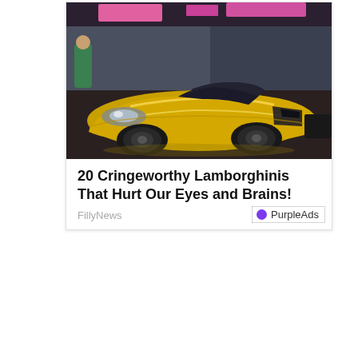[Figure (photo): A gold chrome Lamborghini Aventador parked on a street, with people and storefronts visible in the background. The car has a highly reflective gold mirror finish.]
20 Cringeworthy Lamborghinis That Hurt Our Eyes and Brains!
FillyNews
PurpleAds